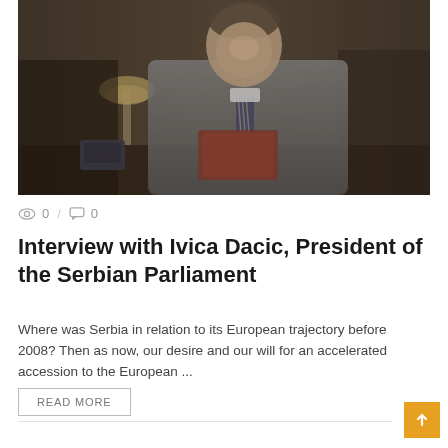[Figure (photo): Man in suit seated at a desk in an office, smiling, holding a book. Background shows wooden paneling, a desk lamp, and a phone.]
0 / 0
Interview with Ivica Dacic, President of the Serbian Parliament
Where was Serbia in relation to its European trajectory before 2008? Then as now, our desire and our will for an accelerated accession to the European ...
READ MORE